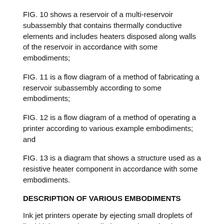FIG. 10 shows a reservoir of a multi-reservoir subassembly that contains thermally conductive elements and includes heaters disposed along walls of the reservoir in accordance with some embodiments;
FIG. 11 is a flow diagram of a method of fabricating a reservoir subassembly according to some embodiments;
FIG. 12 is a flow diagram of a method of operating a printer according to various example embodiments; and
FIG. 13 is a diagram that shows a structure used as a resistive heater component in accordance with some embodiments.
DESCRIPTION OF VARIOUS EMBODIMENTS
Ink jet printers operate by ejecting small droplets of liquid ink onto print media in a predetermined pattern. In some cases, the ink is ejected directly onto a print media, such as paper or a print drum. Solid ink printers have the capability of using a phase change ink which is solid at room temperature and is melted before being ejected onto the print media surface. Phase change inks that are solid